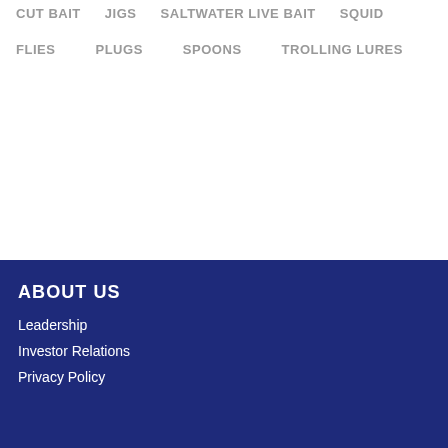CUT BAIT
JIGS
SALTWATER LIVE BAIT
SQUID
FLIES
PLUGS
SPOONS
TROLLING LURES
ABOUT US
Leadership
Investor Relations
Privacy Policy